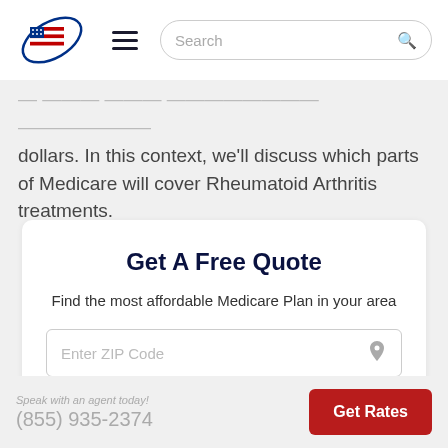Search
dollars. In this context, we’ll discuss which parts of Medicare will cover Rheumatoid Arthritis treatments.
Get A Free Quote
Find the most affordable Medicare Plan in your area
Enter ZIP Code
Speak with an agent today! (855) 935-2374
Get Rates